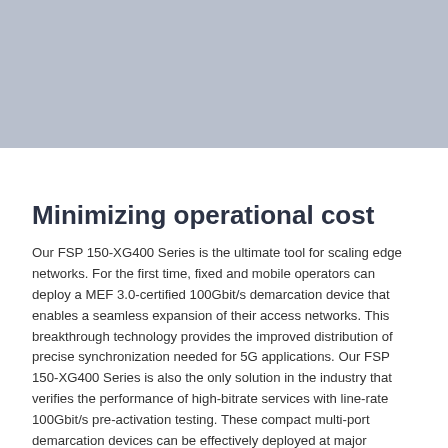[Figure (photo): Large image placeholder area with grey/blue-grey background color, occupying the top portion of the page.]
Minimizing operational cost
Our FSP 150-XG400 Series is the ultimate tool for scaling edge networks. For the first time, fixed and mobile operators can deploy a MEF 3.0-certified 100Gbit/s demarcation device that enables a seamless expansion of their access networks. This breakthrough technology provides the improved distribution of precise synchronization needed for 5G applications. Our FSP 150-XG400 Series is also the only solution in the industry that verifies the performance of high-bitrate services with line-rate 100Gbit/s pre-activation testing. These compact multi-port demarcation devices can be effectively deployed at major business and multi-tenant sites as well as macro cells, with more powerful aggregation nodes consolidating traffic from many users.